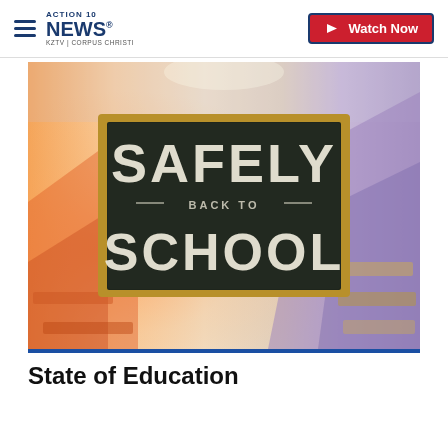ACTION 10 NEWS® KZTV | CORPUS CHRISTI   Watch Now
[Figure (illustration): A classroom background with blurred desks and a chalkboard in the center reading SAFELY BACK TO SCHOOL]
State of Education